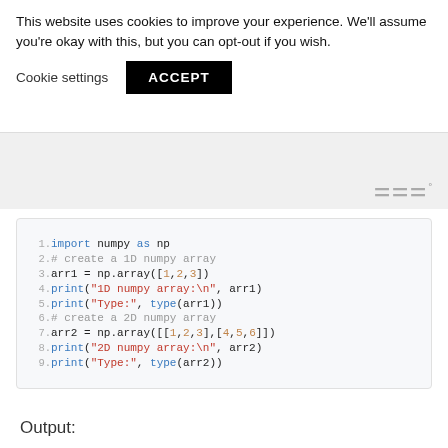This website uses cookies to improve your experience. We'll assume you're okay with this, but you can opt-out if you wish.
Cookie settings   ACCEPT
[Figure (screenshot): Gray banner area with logo mark in bottom right]
1. import numpy as np
2. # create a 1D numpy array
3. arr1 = np.array([1,2,3])
4. print("1D numpy array:\n", arr1)
5. print("Type:", type(arr1))
6. # create a 2D numpy array
7. arr2 = np.array([[1,2,3],[4,5,6]])
8. print("2D numpy array:\n", arr2)
9. print("Type:", type(arr2))
Output: